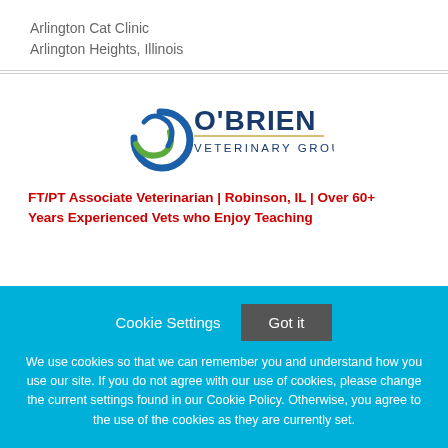Arlington Cat Clinic
Arlington Heights, Illinois
[Figure (logo): O'Brien Veterinary Group logo with circular blue and green icon and bold navy text]
FT/PT Associate Veterinarian | Robinson, IL | Over 60+ Years Experienced Vets who Enjoy Teaching
Cookie Settings  Got it
We use cookies so that we can remember you and understand how you use our site. If you do not agree with our use of cookies, please change the current settings found in our Cookie Policy. Otherwise, you agree to the use of the cookies as they are currently set.